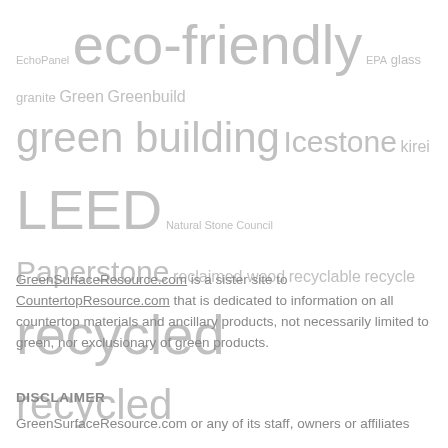[Figure (other): Tag cloud with green building and sustainability related terms in varying font sizes, shown in light gray color. Terms include: EchoPanel, eco-friendly, EPA, glass, granite, Green, Greenbuild, green building, Icestone, kirei, LEED, Natural Stone Council, Paperstone, reclaimed wood, recyclable, recycle, recycled, recycled content, recycled glass, recycled materials, recycling, renewable, solid surface, Surface, surfaces, surfacing, sustainability, sustainable, sustainable building, tile, torzo, trade show, USGBC, us green building council, vetrazzo, Video, wood]
GreenSurfaceResource.com is a sister site to CountertopResource.com that is dedicated to information on all countertop materials and ancillary products, not necessarily limited to green, nor exclusionary of green products.
DISCLAIMER
GreenSurfaceResource.com or any of its staff, owners or affiliates should not be construed as...